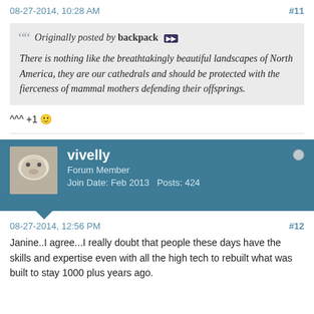08-27-2014, 10:28 AM   #11
Originally posted by backpack
There is nothing like the breathtakingly beautiful landscapes of North America, they are our cathedrals and should be protected with the fierceness of mammal mothers defending their offsprings.
^^^ +1 🙂
vivelly
Forum Member
Join Date: Feb 2013   Posts: 424
08-27-2014, 12:56 PM   #12
Janine..I agree...I really doubt that people these days have the skills and expertise even with all the high tech to rebuilt what was built to stay 1000 plus years ago.